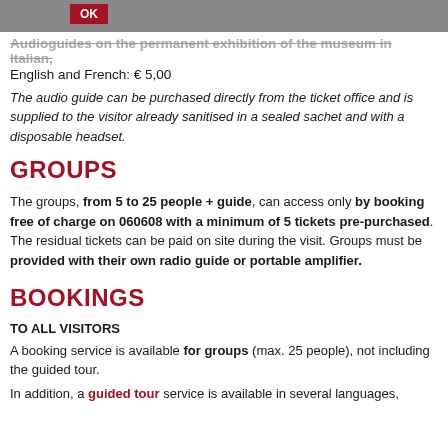OK
Audioguides on the permanent exhibition of the museum in Italian, English and French: € 5,00
The audio guide can be purchased directly from the ticket office and is supplied to the visitor already sanitised in a sealed sachet and with a disposable headset.
GROUPS
The groups, from 5 to 25 people + guide, can access only by booking free of charge on 060608 with a minimum of 5 tickets pre-purchased. The residual tickets can be paid on site during the visit. Groups must be provided with their own radio guide or portable amplifier.
BOOKINGS
TO ALL VISITORS
A booking service is available for groups (max. 25 people), not including the guided tour.
In addition, a guided tour service is available in several languages,